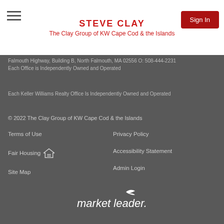STEVE CLAY
The Clay Group of KW Cape Cod & the Islands
Falmouth Highway, Building B, North Falmouth, MA 02556 O: 508-444-2231
Each Office is Independently Owned and Operated
Each Keller Williams Realty Office Is Independently Owned and Operated
© 2022 The Clay Group of KW Cape Cod & the Islands
Terms of Use
Privacy Policy
Fair Housing
Accessibility Statement
Site Map
Admin Login
[Figure (logo): market leader. logo in white text on dark background]